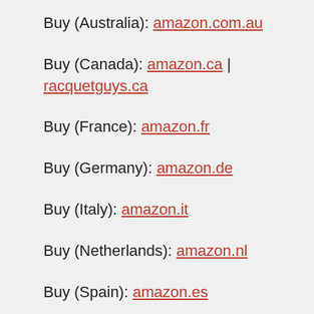Buy (Australia): amazon.com.au
Buy (Canada): amazon.ca | racquetguys.ca
Buy (France): amazon.fr
Buy (Germany): amazon.de
Buy (Italy): amazon.it
Buy (Netherlands): amazon.nl
Buy (Spain): amazon.es
Buy (UK): amazon.co.uk